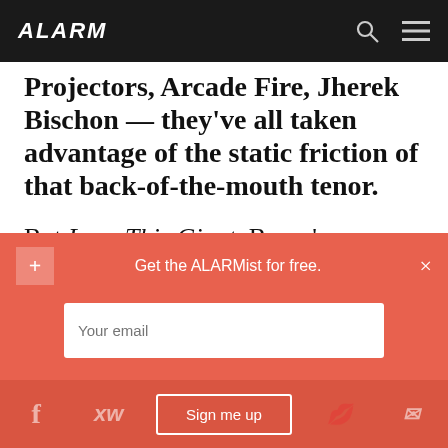ALARM
Projectors, Arcade Fire, Jherek Bischon — they've all taken advantage of the static friction of that back-of-the-mouth tenor.
But Love This Giant, Byrne's collaboration with St. Vincent, a woman who's known more for her multi-instrumentalist abilities than her voice, is the first full-length he's co-written with anyone other than Brian Eno.
Get the ALARMist for free.
Your email
Sign me up